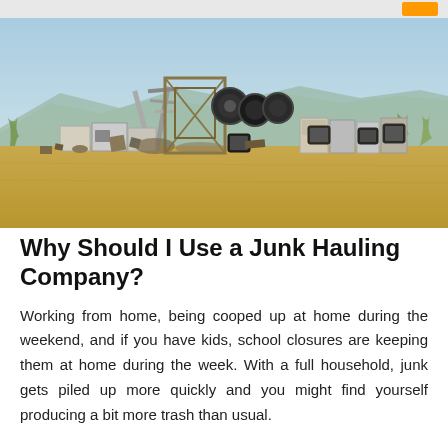[Figure (photo): A pile of discarded household junk including old appliances, televisions, metal frames, and miscellaneous debris arranged in a desert landscape with mountains and sparse vegetation in the background under a clear blue sky.]
Why Should I Use a Junk Hauling Company?
Working from home, being cooped up at home during the weekend, and if you have kids, school closures are keeping them at home during the week. With a full household, junk gets piled up more quickly and you might find yourself producing a bit more trash than usual.